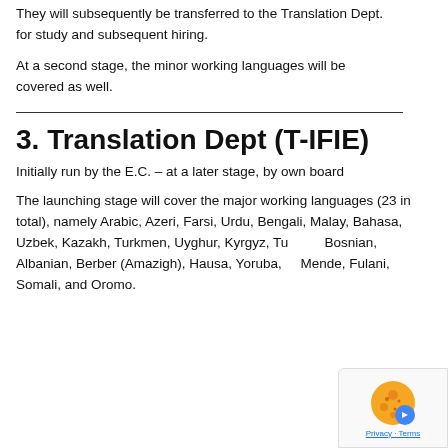They will subsequently be transferred to the Translation Dept. for study and subsequent hiring.
At a second stage, the minor working languages will be covered as well.
3. Translation Dept (T-IFIE)
Initially run by the E.C. – at a later stage, by own board
The launching stage will cover the major working languages (23 in total), namely Arabic, Azeri, Farsi, Urdu, Bengali, Malay, Bahasa, Uzbek, Kazakh, Turkmen, Uyghur, Kyrgyz, Turkish, Bosnian, Albanian, Berber (Amazigh), Hausa, Yoruba, Mende, Fulani, Somali, and Oromo.